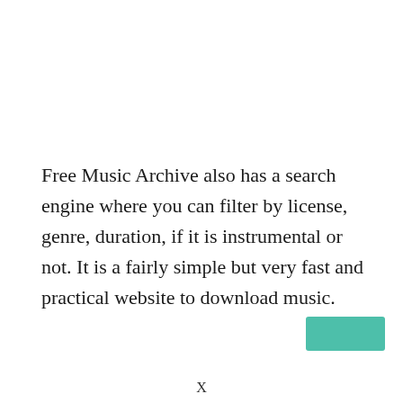Free Music Archive also has a search engine where you can filter by license, genre, duration, if it is instrumental or not. It is a fairly simple but very fast and practical website to download music.
[Figure (other): Small teal/green rounded rectangle button in bottom-right area]
X